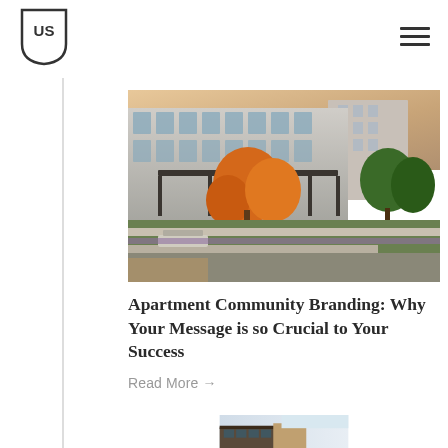US
[Figure (photo): Aerial/elevated view of a modern apartment community with glass facades, terraced outdoor spaces, autumn trees with orange foliage, green landscaping, and warm evening lighting]
Apartment Community Branding: Why Your Message is so Crucial to Your Success
Read More →
[Figure (photo): Partial view of a second apartment building exterior with rustic architectural details, photographed against a light blue sky]